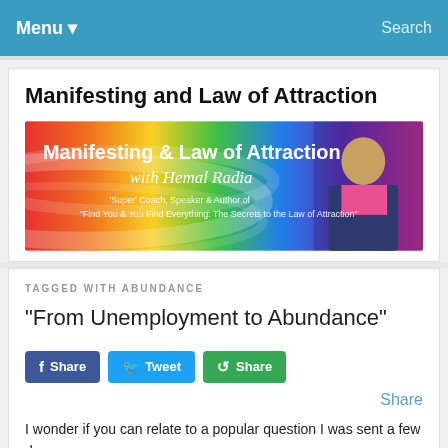Menu   Search
Manifesting and Law of Attraction
[Figure (illustration): Banner image for 'Manifesting & Law of Attraction with Hemal Radia – Super Coach, Speaker & Author of Find You & You Find Everything: The Secrets to the Law of Attraction'. Rainbow colored background with man in suit on right.]
TAGGED WITH ABUNDANCE
“From Unemployment to Abundance”
Share   Tweet   Share
Share
I wonder if you can relate to a popular question I was sent a few days ago.